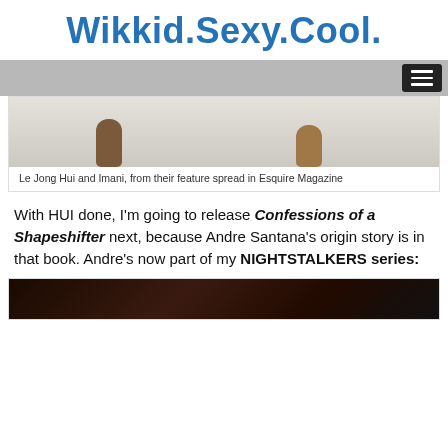Wikkid.Sexy.Cool.
[Figure (photo): Navigation bar with hamburger menu button on dark background]
[Figure (photo): Photo of feet/legs from feature spread, partially cropped]
Le Jong Hui and Imani, from their feature spread in Esquire Magazine
With HUI done, I'm going to release Confessions of a Shapeshifter next, because Andre Santana's origin story is in that book. Andre's now part of my NIGHTSTALKERS series:
[Figure (photo): Dark partial image at bottom, appears to be a book cover or photo]